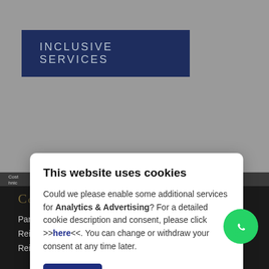INCLUSIVE SERVICES
This website uses cookies
Could we please enable some additional services for Analytics & Advertising? For a detailed cookie description and consent, please click >>here<<. You can change or withdraw your consent at any time later.
Accept
CONTACT
Parkhotel Schönblick
Reiperting 1
Reisbach 39031 (BZ)
[Figure (logo): WhatsApp circular green button icon]